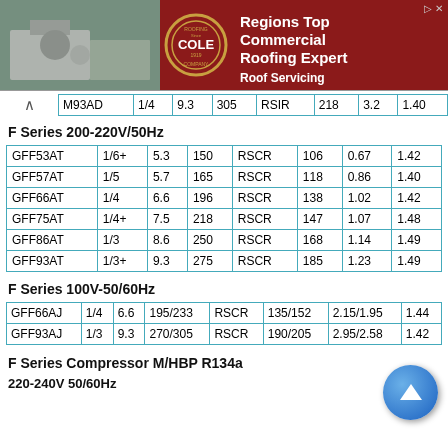[Figure (photo): Advertisement banner for Cole Roofing Company - Regions Top Commercial Roofing Expert, Roof Servicing]
| M93AD | 1/4 | 9.3 | 305 | RSIR | 218 | 3.2 | 1.40 |
F Series 200-220V/50Hz
| GFF53AT | 1/6+ | 5.3 | 150 | RSCR | 106 | 0.67 | 1.42 |
| GFF57AT | 1/5 | 5.7 | 165 | RSCR | 118 | 0.86 | 1.40 |
| GFF66AT | 1/4 | 6.6 | 196 | RSCR | 138 | 1.02 | 1.42 |
| GFF75AT | 1/4+ | 7.5 | 218 | RSCR | 147 | 1.07 | 1.48 |
| GFF86AT | 1/3 | 8.6 | 250 | RSCR | 168 | 1.14 | 1.49 |
| GFF93AT | 1/3+ | 9.3 | 275 | RSCR | 185 | 1.23 | 1.49 |
F Series 100V-50/60Hz
| GFF66AJ | 1/4 | 6.6 | 195/233 | RSCR | 135/152 | 2.15/1.95 | 1.44 |
| GFF93AJ | 1/3 | 9.3 | 270/305 | RSCR | 190/205 | 2.95/2.58 | 1.42 |
F Series Compressor M/HBP R134a
220-240V 50/60Hz